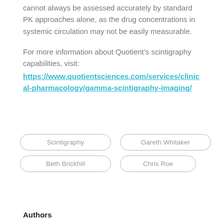cannot always be assessed accurately by standard PK approaches alone, as the drug concentrations in systemic circulation may not be easily measurable.
For more information about Quotient’s scintigraphy capabilities, visit: https://www.quotientsciences.com/services/clinical-pharmacology/gamma-scintigraphy-imaging/
Scintigraphy
Gareth Whitaker
Beth Brickhill
Chris Roe
Authors